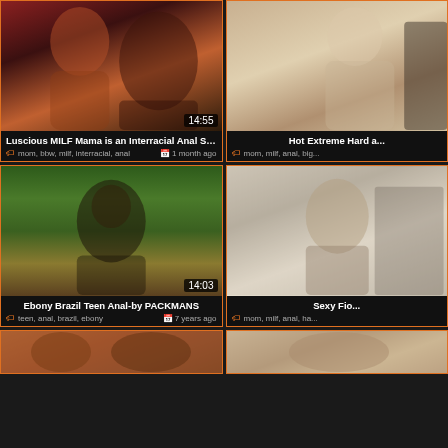[Figure (screenshot): Video thumbnail 1 left - Luscious MILF Mama is an Interracial Anal Sex Freak, duration 14:55]
Luscious MILF Mama is an Interracial Anal Sex Freak
mom, bbw, milf, interracial, anal   1 month ago
[Figure (screenshot): Video thumbnail 1 right - Hot Extreme Hard ...]
Hot Extreme Hard a...
mom, milf, anal, big...
[Figure (screenshot): Video thumbnail 2 left - Ebony Brazil Teen Anal-by PACKMANS, duration 14:03]
Ebony Brazil Teen Anal-by PACKMANS
teen, anal, brazil, ebony   7 years ago
[Figure (screenshot): Video thumbnail 2 right - Sexy Fio...]
Sexy Fio...
mom, milf, anal, ha...
[Figure (screenshot): Video thumbnail 3 left - partial]
[Figure (screenshot): Video thumbnail 3 right - partial]